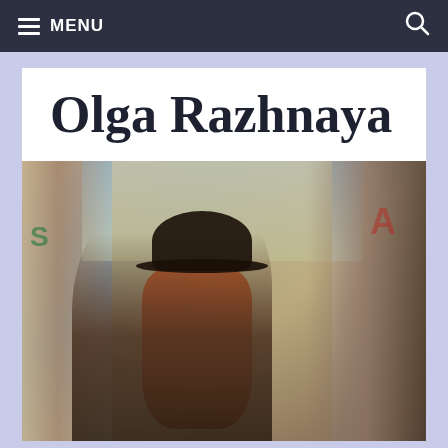MENU
Olga Razhnaya
[Figure (photo): A woman with long red hair wearing a steampunk-style top hat and sunglasses, photographed in an abandoned building with graffiti-covered walls and large windows showing a landscape in the background.]